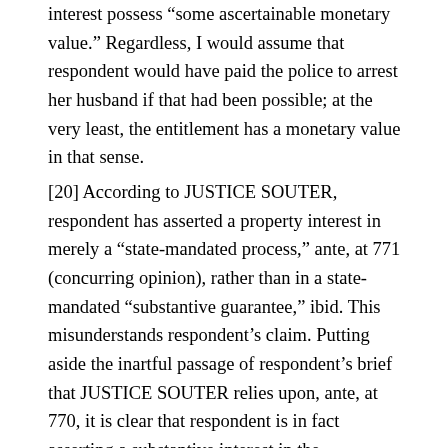interest possess "some ascertainable monetary value." Regardless, I would assume that respondent would have paid the police to arrest her husband if that had been possible; at the very least, the entitlement has a monetary value in that sense.
[20] According to JUSTICE SOUTER, respondent has asserted a property interest in merely a "state-mandated process," ante, at 771 (concurring opinion), rather than in a state-mandated "substantive guarantee," ibid. This misunderstands respondent's claim. Putting aside the inartful passage of respondent's brief that JUSTICE SOUTER relies upon, ante, at 770, it is clear that respondent is in fact asserting a substantive interest in the "enforcement of the restraining order," Brief for Respondent 10. Enforcement of a restraining order is a tangible, substantive act. If an estranged husband violates a restraining order by abducting children, and the police succeed in enforcing the order, the person holding the restraining order has undeniably just received a substantive benefit. As in other procedural due process cases,